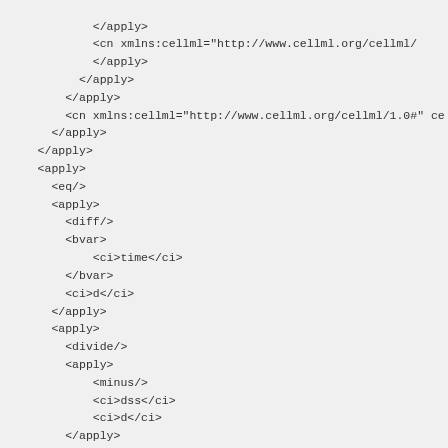</apply>
            <cn xmlns:cellml="http://www.cellml.org/cellml/
            </apply>
          </apply>
        </apply>
        <cn xmlns:cellml="http://www.cellml.org/cellml/1.0#" ce
      </apply>
    </apply>
    <apply>
      <eq/>
      <apply>
        <diff/>
        <bvar>
            <ci>time</ci>
        </bvar>
        <ci>d</ci>
      </apply>
      <apply>
        <divide/>
        <apply>
            <minus/>
            <ci>dss</ci>
            <ci>d</ci>
        </apply>
        <ci>taud</ci>
      </apply>
    </apply>
    <apply>